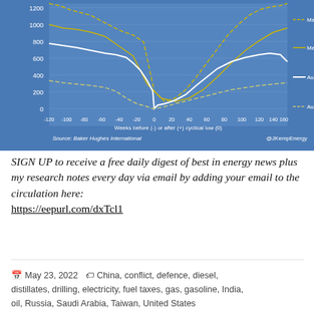[Figure (line-chart): Line chart showing rig count cycles for four different cyclical lows: May 2009, May 2016, August 2020, and August 1999, plotted from -120 to +180 weeks relative to the cyclical low.]
SIGN UP to receive a free daily digest of best in energy news plus my research notes every day via email by adding your email to the circulation here: https://eepurl.com/dxTcl1
May 23, 2022  China, conflict, defence, diesel, distillates, drilling, electricity, fuel taxes, gas, gasoline, India, oil, Russia, Saudi Arabia, Taiwan, United States